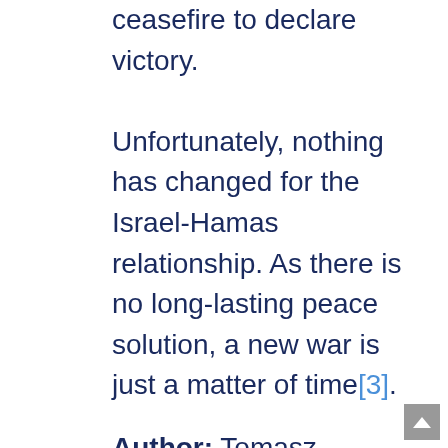ceasefire to declare victory. Unfortunately, nothing has changed for the Israel-Hamas relationship. As there is no long-lasting peace solution, a new war is just a matter of time[3].
Author: Tomasz Kijewski, President and Executive Director, Warsaw Institute
Scholarship holder at the Center for Transatlantic Studies in Maastricht, the Netherlands, and the Center S...